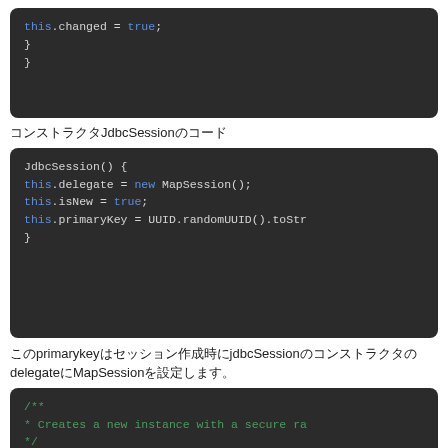[Figure (screenshot): Code block showing: this.changed = true; } }]
コンストラクタJdbcSessionのコード
[Figure (screenshot): Code block showing JdbcSession() constructor with this.delegate = new MapSession(); this.isNew = true; this.primaryKey = UUID.randomUUID().toStr }]
このprimarykeyはセッション作成時にjdbcSessionのコンストラクタのdelegateにMapSessionを設定します。
[Figure (screenshot): Code block showing: /** * Creates a new instance with a secure ra */ public MapSession() { this(generateId()); }]